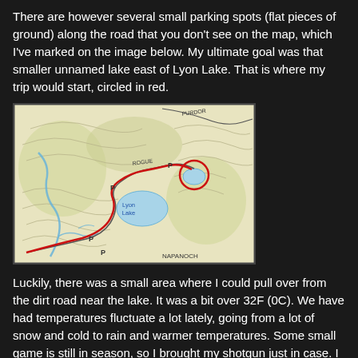There are however several small parking spots (flat pieces of ground) along the road that you don't see on the map, which I've marked on the image below. My ultimate goal was that smaller unnamed lake east of Lyon Lake. That is where my trip would start, circled in red.
[Figure (map): Topographic map showing Lyon Lake area with a red route marked along a road, red circle marking the starting point near an unnamed lake east of Lyon Lake, parking spots marked with P symbols, and NAPANOCH label visible at bottom.]
Luckily, there was a small area where I could pull over from the dirt road near the lake. It was a bit over 32F (0C). We have had temperatures fluctuate a lot lately, going from a lot of snow and cold to rain and warmer temperatures. Some small game is still in season, so I brought my shotgun just in case. I also brought my portable trapping kit. I haven't had a